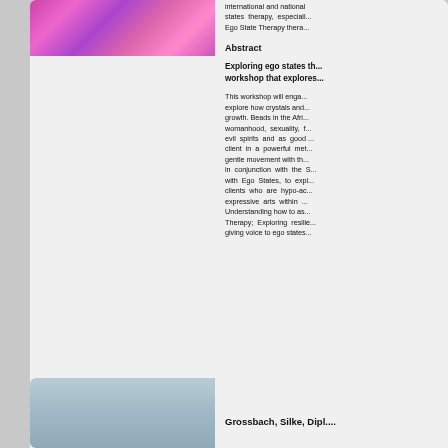[Figure (photo): Photo of a person with colorful decorative background (pink, purple flowers/beads)]
international and national states therapy, especially Ego State Therapy thera...
Abstract
Exploring ego states th... workshop that explores...
This workshop will enga... explore how crystals and... growth. Beads in the Afri... womanhood, sexuality, f... evil spirits and as good ... client in a powerful met... gentle movement with th... in conjunction with the S... with Ego States, to expl... clients who are hypo-ac... expressive arts within ... Understanding how to as... Therapy; Exploring resilie... giving voice to ego states...
[Figure (photo): Photo of Silke Grossbach, headshot with light blue/grey background]
Grossbach, Silke, Dipl....